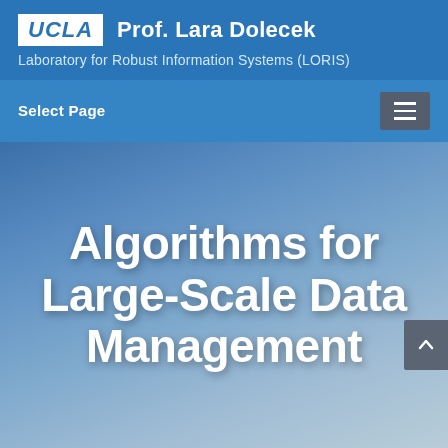UCLA  Prof. Lara Dolecek  Laboratory for Robust Information Systems (LORIS)
Select Page
Algorithms for Large-Scale Data Management